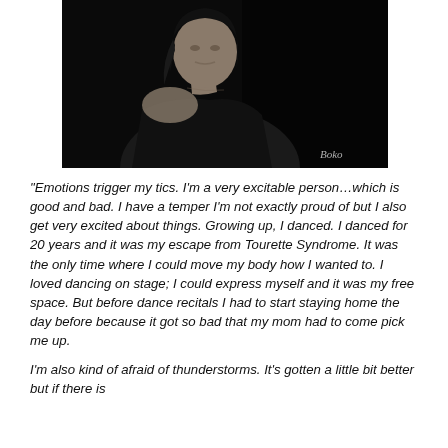[Figure (photo): Black and white portrait photo of a woman with dark hair wearing a black sleeveless top, looking slightly upward. Dark background. Photographer watermark 'Boko' in bottom right corner.]
"Emotions trigger my tics. I'm a very excitable person…which is good and bad. I have a temper I'm not exactly proud of but I also get very excited about things. Growing up, I danced. I danced for 20 years and it was my escape from Tourette Syndrome. It was the only time where I could move my body how I wanted to. I loved dancing on stage; I could express myself and it was my free space. But before dance recitals I had to start staying home the day before because it got so bad that my mom had to come pick me up.
I'm also kind of afraid of thunderstorms. It's gotten a little bit better but if there is